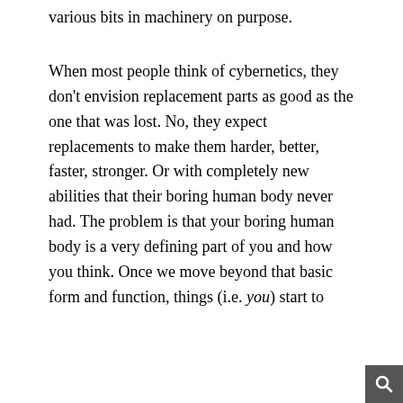various bits in machinery on purpose.
When most people think of cybernetics, they don’t envision replacement parts as good as the one that was lost. No, they expect replacements to make them harder, better, faster, stronger. Or with completely new abilities that their boring human body never had. The problem is that your boring human body is a very defining part of you and how you think. Once we move beyond that basic form and function, things (i.e. you) start to